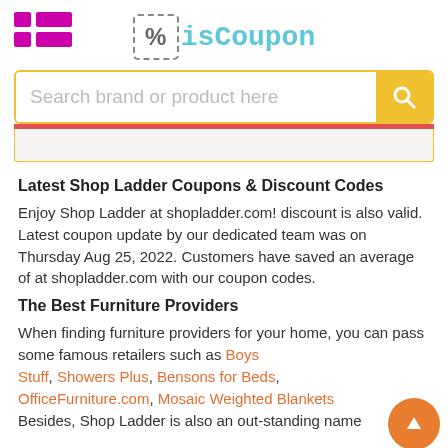isCoupon
Latest Shop Ladder Coupons & Discount Codes
Enjoy Shop Ladder at shopladder.com! discount is also valid. Latest coupon update by our dedicated team was on Thursday Aug 25, 2022. Customers have saved an average of at shopladder.com with our coupon codes.
The Best Furniture Providers
When finding furniture providers for your home, you can pass some famous retailers such as Boys Stuff, Showers Plus, Bensons for Beds, OfficeFurniture.com, Mosaic Weighted Blankets Besides, Shop Ladder is also an out-standing name